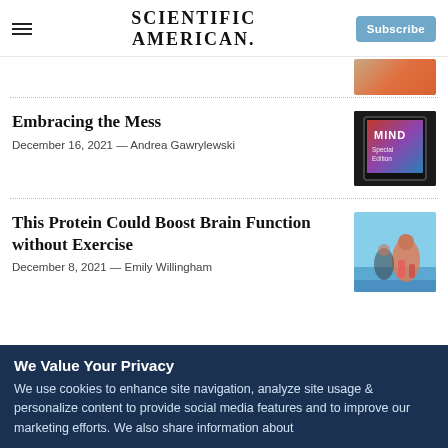SCIENTIFIC AMERICAN
Embracing the Mess
December 16, 2021 — Andrea Gawrylewski
This Protein Could Boost Brain Function without Exercise
December 8, 2021 — Emily Willingham
We Value Your Privacy
We use cookies to enhance site navigation, analyze site usage & personalize content to provide social media features and to improve our marketing efforts. We also share information about